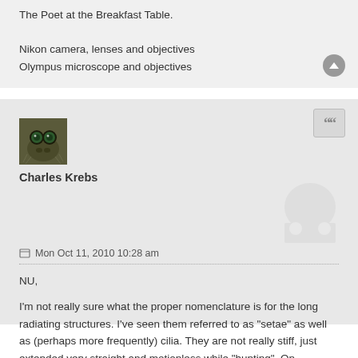The Poet at the Breakfast Table.

Nikon camera, lenses and objectives
Olympus microscope and objectives
[Figure (photo): User avatar showing a close-up macro photo of a jumping spider face with large green eyes]
Charles Krebs
Mon Oct 11, 2010 10:28 am
NU,

I'm not really sure what the proper nomenclature is for the long radiating structures. I've seen them referred to as "setae" as well as (perhaps more frequently) cilia. They are not really stiff, just extended very straight and motionless while "hunting". On